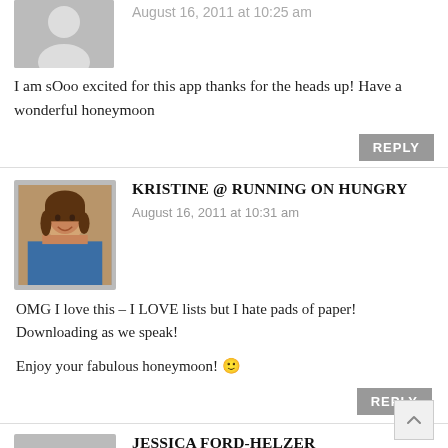August 16, 2011 at 10:25 am
I am sOoo excited for this app thanks for the heads up! Have a wonderful honeymoon
REPLY
KRISTINE @ RUNNING ON HUNGRY
August 16, 2011 at 10:31 am
OMG I love this – I LOVE lists but I hate pads of paper! Downloading as we speak!

Enjoy your fabulous honeymoon! 🙂
REPLY
JESSICA FORD-HELZER
August 16, 2011 at 11:12 am
Hmmm, I'd use it for wedding planning, our day-to-day project